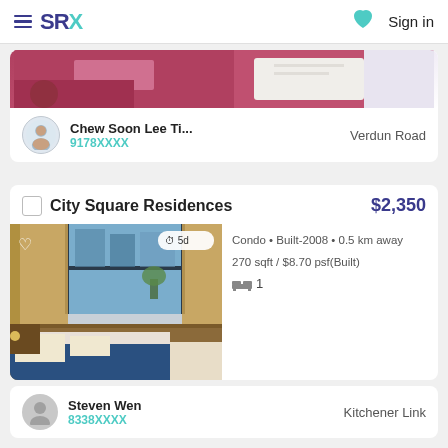SRX  Sign in
[Figure (photo): Partial property interior photo showing a table and red/pink furniture]
Chew Soon Lee Ti...  9178XXXX  Verdun Road
City Square Residences  $2,350
[Figure (photo): Interior bedroom photo with large windows, blue bed, curtains, and city view. Badge shows 5d.]
Condo • Built-2008 • 0.5 km away
270 sqft / $8.70 psf(Built)
1 bathroom
Steven Wen  8338XXXX  Kitchener Link